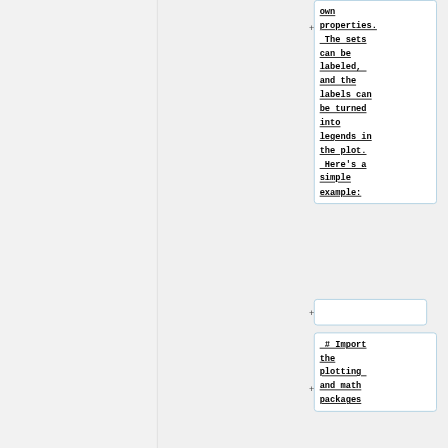own properties. The sets can be labeled, and the labels can be turned into legends in the plot. Here's a simple example:
# Import the plotting and math packages